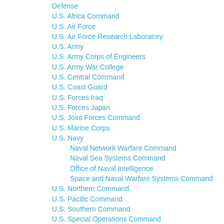Defense
U.S. Africa Command
U.S. Air Force
U.S. Air Force Research Laboratory
U.S. Army
U.S. Army Corps of Engineers
U.S. Army War College
U.S. Central Command
U.S. Coast Guard
U.S. Forces Iraq
U.S. Forces Japan
U.S. Joint Forces Command
U.S. Marine Corps
U.S. Navy
Naval Network Warfare Command
Naval Sea Systems Command
Office of Naval Intelligence
Space and Naval Warfare Systems Command
U.S. Northern Command
U.S. Pacific Command
U.S. Southern Command
U.S. Special Operations Command
U.S. Strategic Command